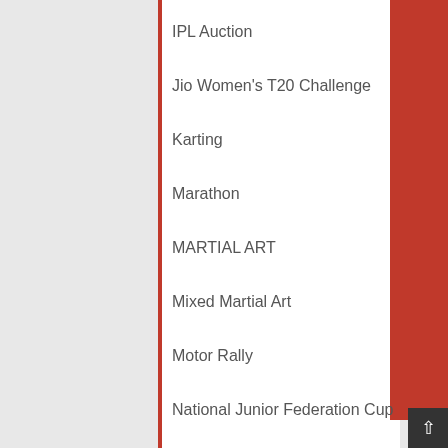IPL Auction
Jio Women's T20 Challenge
Karting
Marathon
MARTIAL ART
Mixed Martial Art
Motor Rally
National Junior Federation Cup
National Junior Meet
National Open Race Walking
NCAA Season